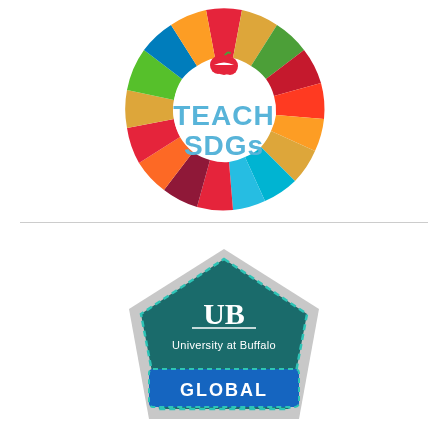[Figure (logo): Teach SDGs circular logo with colorful segments arranged in a sunburst pattern around the text TEACH SDGs in blue, with an apple icon at the top]
[Figure (logo): University at Buffalo digital badge showing UB logo and University at Buffalo text on a dark teal pentagon-shaped badge with dashed border and blue banner at bottom reading GLOBAL]